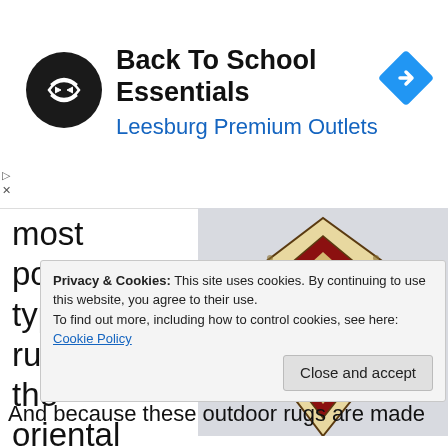[Figure (screenshot): Advertisement banner for Back To School Essentials at Leesburg Premium Outlets, featuring a circular black logo with double arrow icon and a blue diamond navigation icon]
most popular types of rugs is the oriental r T o ju
[Figure (photo): Photo of an oriental rug with red and cream pattern, fanned out in a diamond/triangular shape against a light gray background]
Privacy & Cookies: This site uses cookies. By continuing to use this website, you agree to their use.
To find out more, including how to control cookies, see here:
Cookie Policy
Close and accept
And because these outdoor rugs are made